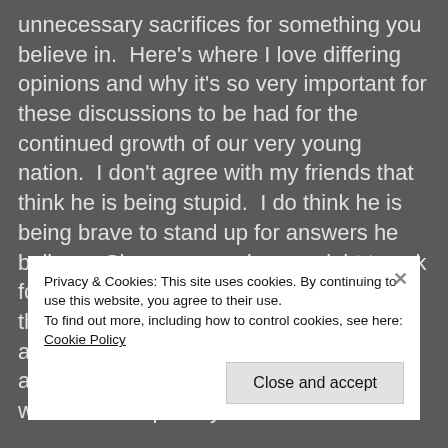unnecessary sacrifices for something you believe in.  Here's where I love differing opinions and why it's so very important for these discussions to be had for the continued growth of our very young nation.  I don't agree with my friends that think he is being stupid.  I do think he is being brave to stand up for answers he believes Singaporeans have a right to ask for.  I've read his blogs and I don't think there is anything wrong with what he is asking for.  No one seemed to be attempting to even address his questions when he was politely
Privacy & Cookies: This site uses cookies. By continuing to use this website, you agree to their use.
To find out more, including how to control cookies, see here: Cookie Policy
Close and accept